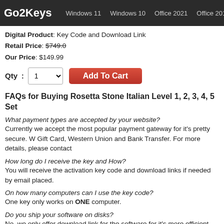Go2Keys   Windows 11   Windows 10   Office 2021   Office 2019
Digital Product: Key Code and Download Link
Retail Price: $749.0
Our Price: $149.99
Qty: 1  Add To Cart
FAQs for Buying Rosetta Stone Italian Level 1, 2, 3, 4, 5 Set
What payment types are accepted by your website?
Currently we accept the most popular payment gateway for it's pretty secure. W Gift Card, Western Union and Bank Transfer. For more details, please contact
How long do I receive the key and How?
You will receive the activation key code and download links if needed by email placed.
On how many computers can I use the key code?
One key only works on ONE computer.
Do you ship your software on disks?
No, we only offer download link for the software for it's more efficient and more
What if something is wrong? Will I be able to get a refund?
Sure. If there are any unsolvable problems with the invalid key or the software